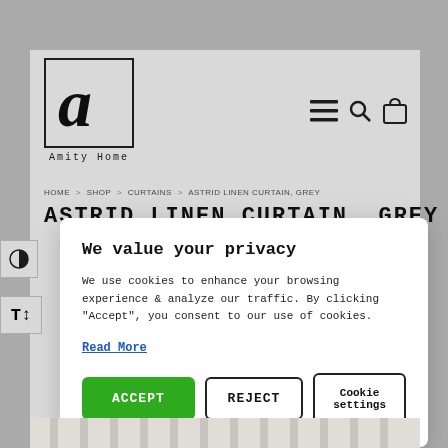[Figure (logo): Amity Home logo: stylized cursive 'A' in a square border, with 'Amity Home' text below in monospace]
[Figure (screenshot): Navigation icons: hamburger menu, search magnifier, shopping bag with 0]
HOME > SHOP > CURTAINS > ASTRID LINEN CURTAIN, GREY
ASTRID LINEN CURTAIN, GREY
We value your privacy
We use cookies to enhance your browsing experience & analyze our traffic. By clicking "Accept", you consent to our use of cookies.
Read More
ACCEPT
REJECT
Cookie settings